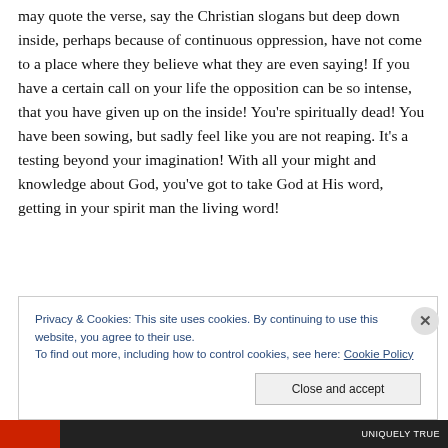may quote the verse, say the Christian slogans but deep down inside, perhaps because of continuous oppression, have not come to a place where they believe what they are even saying! If you have a certain call on your life the opposition can be so intense, that you have given up on the inside! You're spiritually dead! You have been sowing, but sadly feel like you are not reaping. It's a testing beyond your imagination! With all your might and knowledge about God, you've got to take God at His word, getting in your spirit man the living word!
Privacy & Cookies: This site uses cookies. By continuing to use this website, you agree to their use.
To find out more, including how to control cookies, see here: Cookie Policy
Close and accept